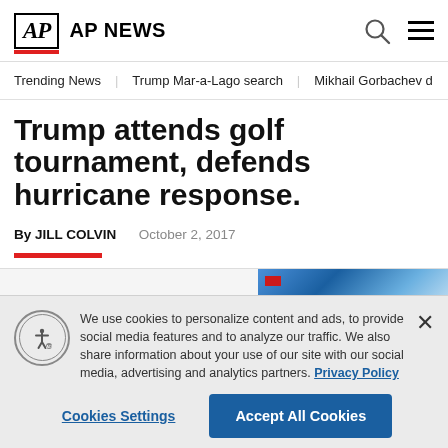AP AP NEWS
Trending News   Trump Mar-a-Lago search   Mikhail Gorbachev d
Trump attends golf tournament, defends hurricane response.
By JILL COLVIN   October 2, 2017
We use cookies to personalize content and ads, to provide social media features and to analyze our traffic. We also share information about your use of our site with our social media, advertising and analytics partners. Privacy Policy
Cookies Settings   Accept All Cookies